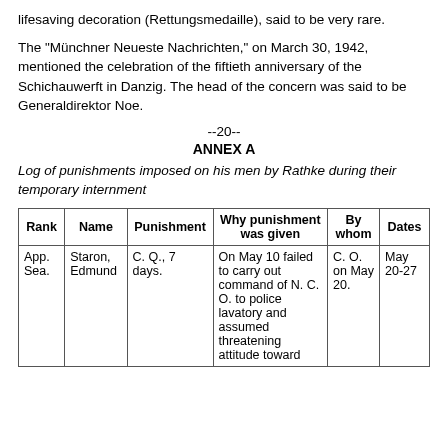lifesaving decoration (Rettungsmedaille), said to be very rare.
The "Münchner Neueste Nachrichten," on March 30, 1942, mentioned the celebration of the fiftieth anniversary of the Schichauwerft in Danzig. The head of the concern was said to be Generaldirektor Noe.
--20--
ANNEX A
Log of punishments imposed on his men by Rathke during their temporary internment
| Rank | Name | Punishment | Why punishment was given | By whom | Dates |
| --- | --- | --- | --- | --- | --- |
| App. Sea. | Staron, Edmund | C. Q., 7 days. | On May 10 failed to carry out command of N. C. O. to police lavatory and assumed threatening attitude toward | C. O. on May 20. | May 20-27 |